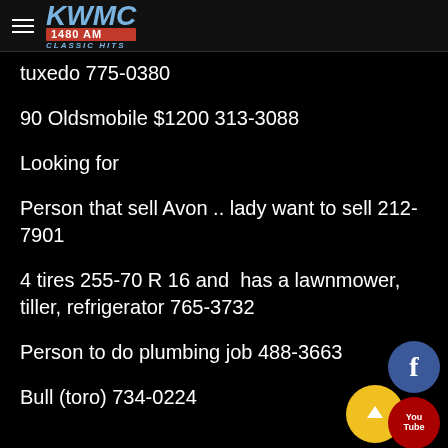[Figure (logo): KWMC 1480 AM Classic Hits radio station logo with hamburger menu icon]
tuxedo 775-0380
90 Oldsmobile $1200 313-3088
Looking for
Person that sell Avon .. lady want to sell 212-7901
4 tires 255-70 R 16 and  has a lawnmower, tiller, refrigerator 765-3732
Person to do plumbing job 488-3663
Bull (toro) 734-0224
[Figure (illustration): Social media icons: Facebook (blue circle), scroll-up (yellow circle with up arrow), YouTube (red circle)]